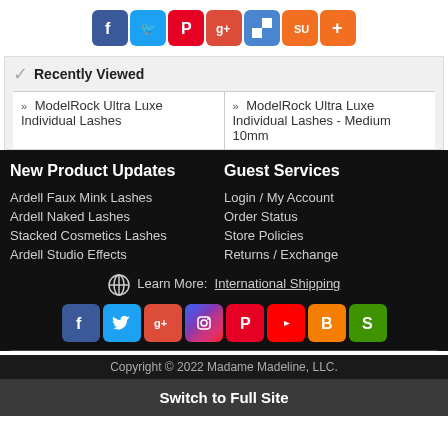[Figure (infographic): Row of social sharing icon buttons: Facebook, Twitter, Pinterest, Google+, Delicious, StumbleUpon, AddThis]
Recently Viewed
» ModelRock Ultra Luxe Individual Lashes
» ModelRock Ultra Luxe Individual Lashes - Medium 10mm
New Product Updates
Guest Services
Ardell Faux Mink Lashes
Ardell Naked Lashes
Stacked Cosmetics Lashes
Ardell Studio Effects
Login / My Account
Order Status
Store Policies
Returns / Exchange
Learn More: International Shipping
[Figure (infographic): Row of social media icon buttons: Facebook, Twitter, Google+, Instagram, Pinterest, YouTube, Blogger, StumbleUpon]
Copyright © 2022 Madame Madeline, LLC.
Switch to Full Site